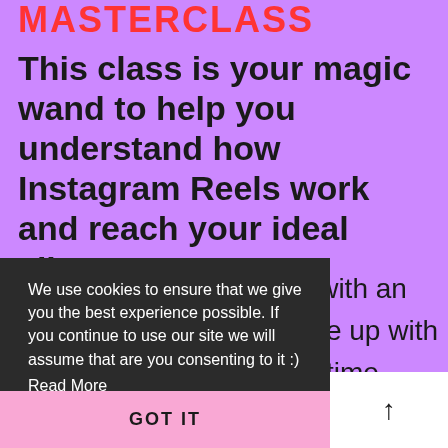MASTERCLASS
This class is your magic wand to help you understand how Instagram Reels work and reach your ideal clients!
nts with an come up with ave time et back to
We use cookies to ensure that we give you the best experience possible. If you continue to use our site we will assume that are you consenting to it :)
Read More
GOT IT